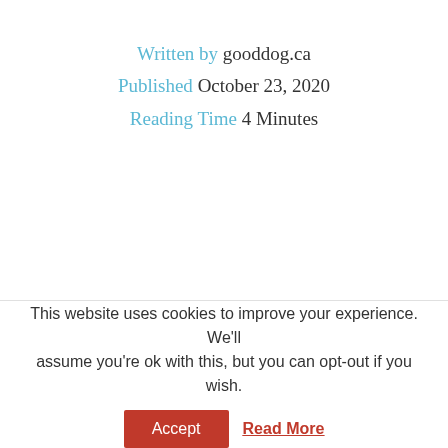Written by gooddog.ca
Published October 23, 2020
Reading Time 4 Minutes
for your pet.
Spending the day with fellow dogs in a happy environment can be very good for the dogs. Having a dog at home is pretty much like having a child and their happiness means the
This website uses cookies to improve your experience. We'll assume you're ok with this, but you can opt-out if you wish.
Accept  Read More